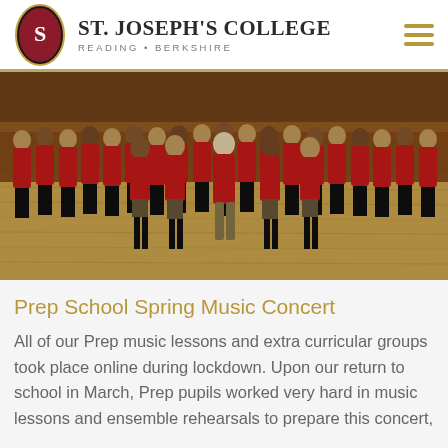St. Joseph's College — Reading • Berkshire
[Figure (photo): Group of school pupils in red blazers and plaid skirts standing in rows on a wooden floor in a hall, appearing to perform in a music concert.]
Prep School Spring Music Concert
All of our Prep music lessons and extra curricular groups took place online during lockdown. Upon our return to school in March, Prep pupils worked very hard in music lessons and ensemble rehearsals to prepare this concert,